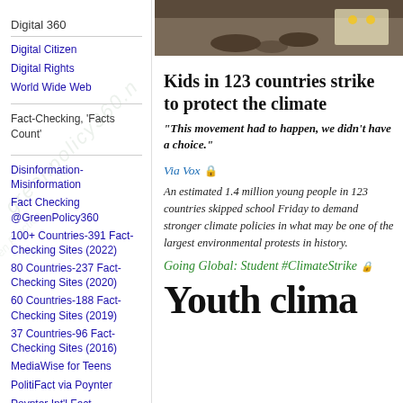Digital 360
Digital Citizen
Digital Rights
World Wide Web
Fact-Checking, 'Facts Count'
Disinformation-Misinformation
Fact Checking @GreenPolicy360
100+ Countries-391 Fact-Checking Sites (2022)
80 Countries-237 Fact-Checking Sites (2020)
60 Countries-188 Fact-Checking Sites (2019)
37 Countries-96 Fact-Checking Sites (2016)
MediaWise for Teens
PolitiFact via Poynter
Poynter Int'l Fact Checking Network
[Figure (photo): Photo of feet/sandals on ground at a climate strike protest]
Kids in 123 countries strike to protect the climate
“This movement had to happen, we didn’t have a choice.”
Via Vox 🔒
An estimated 1.4 million young people in 123 countries skipped school Friday to demand stronger climate policies in what may be one of the largest environmental protests in history.
Going Global: Student #ClimateStrike 🔒
Youth clima